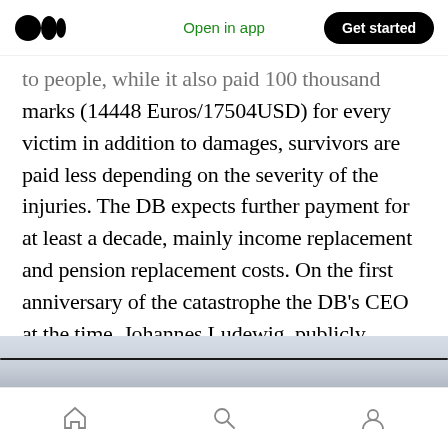Open in app | Get started
to people, while it also paid 100 thousand marks (14448 Euros/17504USD) for every victim in addition to damages, survivors are paid less depending on the severity of the injuries. The DB expects further payment for at least a decade, mainly income replacement and pension replacement costs. On the first anniversary of the catastrophe the DB’s CEO at the time, Johannes Ludewig, publicly apologizes for what happens, a step largely seen as borderline insulting by relatives and survivors.
[Figure (photo): Partial image strip visible at bottom of article content area]